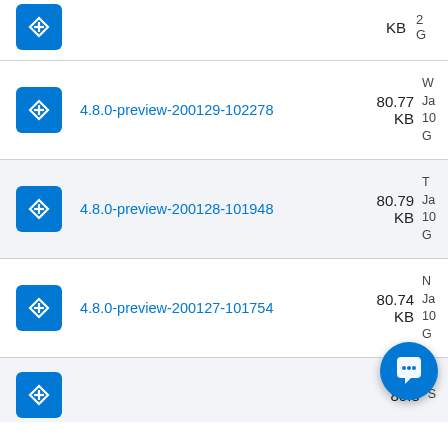| Package | Size | Meta |
| --- | --- | --- |
| 4.8.0-preview-200129-102278 | 80.77 KB | Ja 10 G |
| 4.8.0-preview-200128-101948 | 80.79 KB | Ja 10 G |
| 4.8.0-preview-200127-101754 | 80.74 KB | Ja 10 G |
| ... | 80.8... | S |